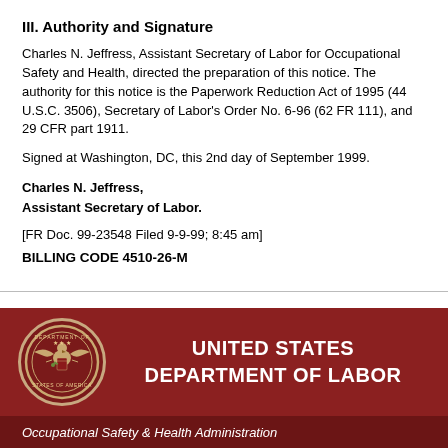III. Authority and Signature
Charles N. Jeffress, Assistant Secretary of Labor for Occupational Safety and Health, directed the preparation of this notice. The authority for this notice is the Paperwork Reduction Act of 1995 (44 U.S.C. 3506), Secretary of Labor's Order No. 6-96 (62 FR 111), and 29 CFR part 1911.
Signed at Washington, DC, this 2nd day of September 1999.
Charles N. Jeffress,
Assistant Secretary of Labor.
[FR Doc. 99-23548 Filed 9-9-99; 8:45 am]
BILLING CODE 4510-26-M
[Figure (logo): United States Department of Labor footer banner with seal and agency name, including Occupational Safety & Health Administration subtitle]